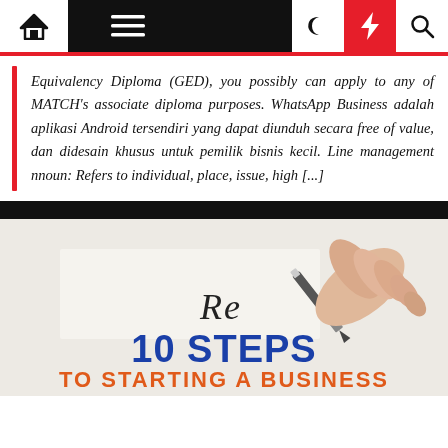Navigation bar with home, menu, moon, flash, and search icons
Equivalency Diploma (GED), you possibly can apply to any of MATCH's associate diploma purposes. WhatsApp Business adalah aplikasi Android tersendiri yang dapat diunduh secara free of value, dan didesain khusus untuk pemilik bisnis kecil. Line management nnoun: Refers to individual, place, issue, high [...]
[Figure (photo): A hand holding a pen writing 'Re' on paper, with bold text overlay reading '10 STEPS TO STARTING A BUSINESS' in blue and orange on a dark/light background.]